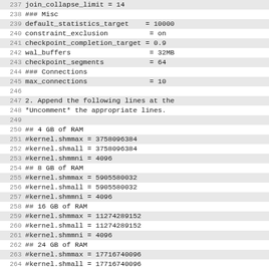Code listing lines 237-264 showing PostgreSQL configuration and kernel shared memory settings
237 join_collapse_limit = 14
238 ### Misc
239 default_statistics_target    = 10000
240 constraint_exclusion          = on
241 checkpoint_completion_target = 0.9
242 wal_buffers                   = 32MB
243 checkpoint_segments           = 64
244 ### Connections
245 max_connections               = 10
246
247 2. Append the following lines at the
248 *Uncomment* the appropriate lines.
249
250 ## 4 GB of RAM
251 #kernel.shmmax = 3758096384
252 #kernel.shmall = 3758096384
253 #kernel.shmmni = 4096
254 ## 8 GB of RAM
255 #kernel.shmmax = 5905580032
256 #kernel.shmall = 5905580032
257 #kernel.shmmni = 4096
258 ## 16 GB of RAM
259 #kernel.shmmax = 11274289152
260 #kernel.shmall = 11274289152
261 #kernel.shmmni = 4096
262 ## 24 GB of RAM
263 #kernel.shmmax = 17716740096
264 #kernel.shmall = 17716740096